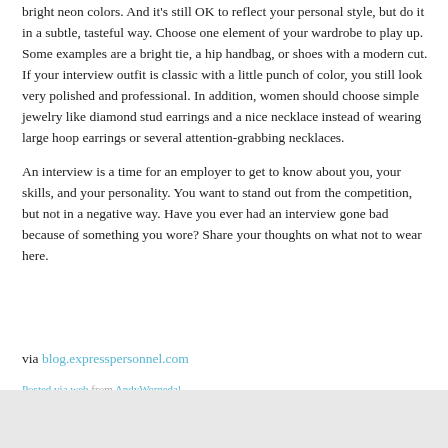bright neon colors. And it's still OK to reflect your personal style, but do it in a subtle, tasteful way. Choose one element of your wardrobe to play up. Some examples are a bright tie, a hip handbag, or shoes with a modern cut. If your interview outfit is classic with a little punch of color, you still look very polished and professional. In addition, women should choose simple jewelry like diamond stud earrings and a nice necklace instead of wearing large hoop earrings or several attention-grabbing necklaces.
An interview is a time for an employer to get to know about you, your skills, and your personality. You want to stand out from the competition, but not in a negative way. Have you ever had an interview gone bad because of something you wore? Share your thoughts on what not to wear here.
via blog.expresspersonnel.com
Posted via web from AndyWergedal